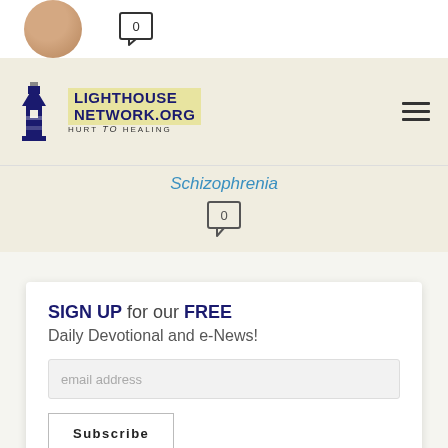[Figure (photo): Partial dog/cat photo circle cropped at top]
[Figure (other): Comment bubble icon with 0]
[Figure (logo): Lighthouse Network logo with lighthouse icon and text LIGHTHOUSENETWORK.ORG HURT to HEALING and hamburger menu icon]
Schizophrenia
[Figure (other): Comment bubble icon with 0]
SIGN UP for our FREE
Daily Devotional and e-News!
email address
Subscribe